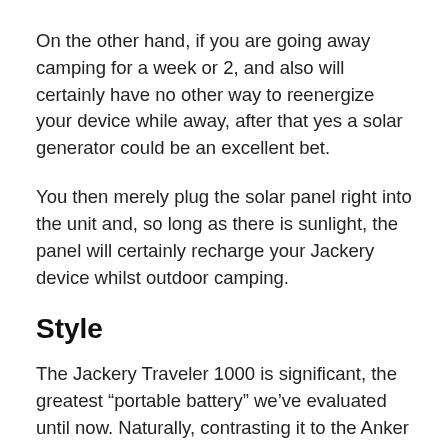On the other hand, if you are going away camping for a week or 2, and also will certainly have no other way to reenergize your device while away, after that yes a solar generator could be an excellent bet.
You then merely plug the solar panel right into the unit and, so long as there is sunlight, the panel will certainly recharge your Jackery device whilst outdoor camping.
Style
The Jackery Traveler 1000 is significant, the greatest “portable battery” we’ve evaluated until now. Naturally, contrasting it to the Anker Giant 200 resembles contrasting apples to